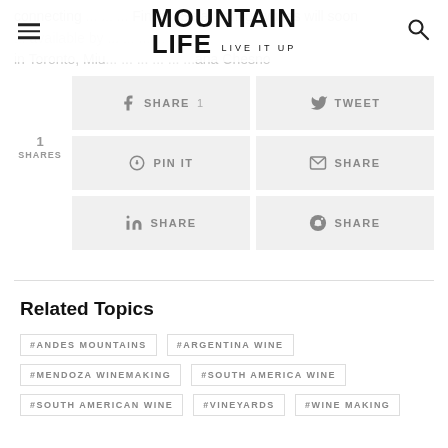MOUNTAIN LIFE LIVE IT UP
connecting ... Finclio, Sela Contigo wines will soon available by ... in in Toronto, Miu ... ana Chesno
1 SHARES
SHARE 1 | TWEET | PIN IT | SHARE | SHARE | SHARE
Related Topics
#ANDES MOUNTAINS
#ARGENTINA WINE
#MENDOZA WINEMAKING
#SOUTH AMERICA WINE
#SOUTH AMERICAN WINE
#VINEYARDS
#WINE MAKING